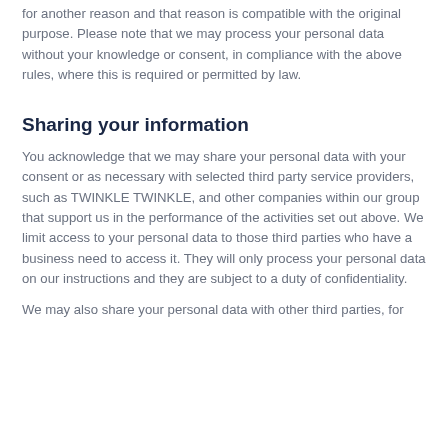for another reason and that reason is compatible with the original purpose. Please note that we may process your personal data without your knowledge or consent, in compliance with the above rules, where this is required or permitted by law.
Sharing your information
You acknowledge that we may share your personal data with your consent or as necessary with selected third party service providers, such as TWINKLE TWINKLE, and other companies within our group that support us in the performance of the activities set out above. We limit access to your personal data to those third parties who have a business need to access it. They will only process your personal data on our instructions and they are subject to a duty of confidentiality.
We may also share your personal data with other third parties, for